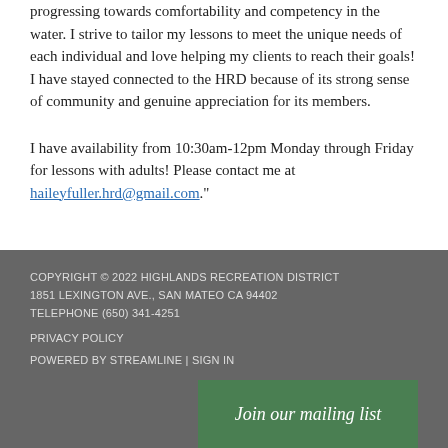progressing towards comfortability and competency in the water. I strive to tailor my lessons to meet the unique needs of each individual and love helping my clients to reach their goals! I have stayed connected to the HRD because of its strong sense of community and genuine appreciation for its members.
I have availability from 10:30am-12pm Monday through Friday for lessons with adults! Please contact me at haileyfuller.hrd@gmail.com.
COPYRIGHT © 2022 HIGHLANDS RECREATION DISTRICT
1851 LEXINGTON AVE., SAN MATEO CA 94402
TELEPHONE (650) 341-4251
PRIVACY POLICY
POWERED BY STREAMLINE | SIGN IN
Join our mailing list